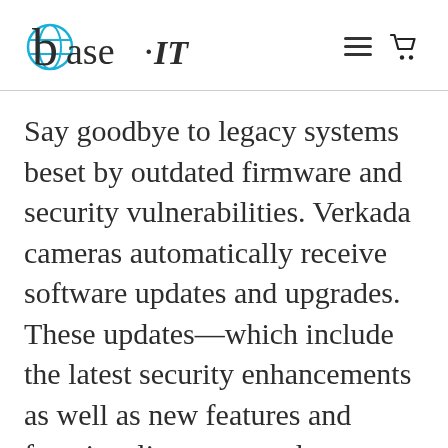base.IT [logo with navigation icons]
Say goodbye to legacy systems beset by outdated firmware and security vulnerabilities. Verkada cameras automatically receive software updates and upgrades. These updates—which include the latest security enhancements as well as new features and functionality—are made available to all Verkada software licens...